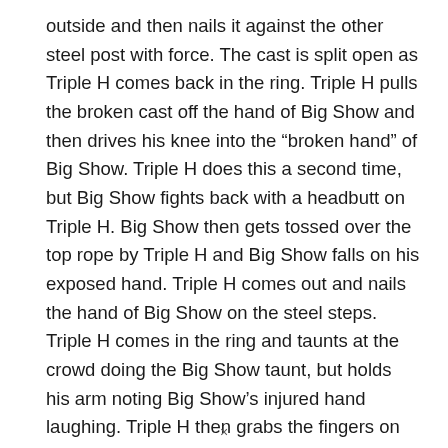outside and then nails it against the other steel post with force. The cast is split open as Triple H comes back in the ring. Triple H pulls the broken cast off the hand of Big Show and then drives his knee into the “broken hand” of Big Show. Triple H does this a second time, but Big Show fights back with a headbutt on Triple H. Big Show then gets tossed over the top rope by Triple H and Big Show falls on his exposed hand. Triple H comes out and nails the hand of Big Show on the steel steps. Triple H comes in the ring and taunts at the crowd doing the Big Show taunt, but holds his arm noting Big Show’s injured hand laughing. Triple H then grabs the fingers on Big Show’s injured hand and separates the fingers applying pressure. Triple H then drops a knee over the hand of Big Show as well.
×